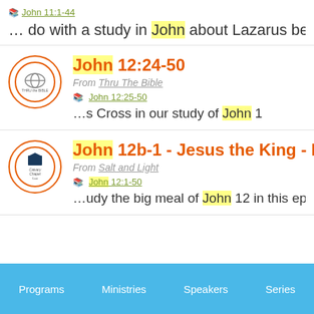John 11:1-44 ... do with a study in John about Lazarus being
John 12:24-50 From Thru The Bible John 12:25-50 ...s Cross in our study of John 1
John 12b-1 - Jesus the King - Pt 1 From Salt and Light John 12:1-50 ...udy the big meal of John 12 in this episode o
Programs   Ministries   Speakers   Series